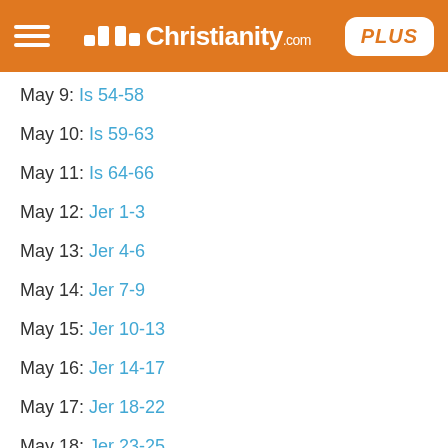iChristianity.com PLUS
May 9: Is 54-58
May 10: Is 59-63
May 11: Is 64-66
May 12: Jer 1-3
May 13: Jer 4-6
May 14: Jer 7-9
May 15: Jer 10-13
May 16: Jer 14-17
May 17: Jer 18-22
May 18: Jer 23-25
May 19: Jer 26-29
May 20: Jer 30-31
May 21: Jer 32-34